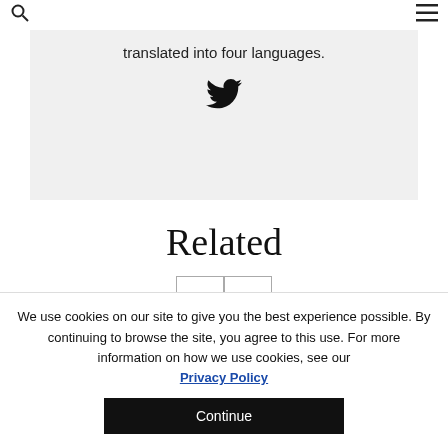🔍  ☰
translated into four languages.
[Figure (illustration): Twitter bird icon (social media share button)]
Related
< >  (navigation buttons)
We use cookies on our site to give you the best experience possible. By continuing to browse the site, you agree to this use. For more information on how we use cookies, see our Privacy Policy
Continue